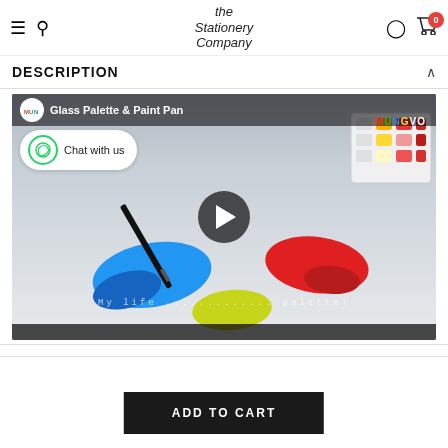The Stationery Company — Navigation header with hamburger menu, search, logo, user icon, and cart (0)
DESCRIPTION
[Figure (screenshot): YouTube-style video thumbnail showing a paintbrush painting blue, red, and yellow paint blobs on white surface with title 'Glass Palette & Paint Pan'. A WhatsApp 'Chat with us' bubble overlay appears in the top-left. A play button is centered. The MUNGYO brand logo appears top-left of the video.]
ADD TO CART